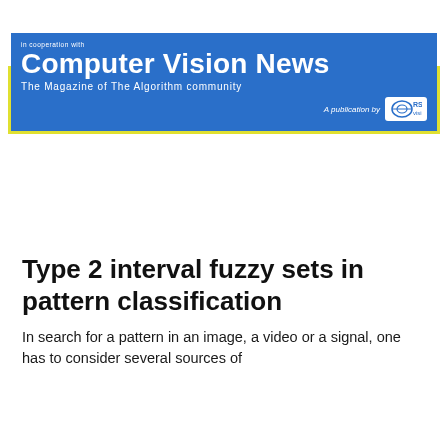[Figure (logo): Computer Vision News magazine banner. Blue background with bold white text 'Computer Vision News', subtitle 'The Magazine of The Algorithm community', 'A publication by RSP Vision' logo. Yellow border around banner. Decorative 'Vision' and 'CV' text at top.]
Type 2 interval fuzzy sets in pattern classification
In search for a pattern in an image, a video or a signal, one has to consider several sources of